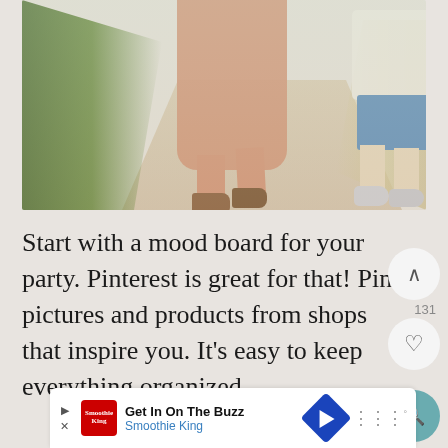[Figure (photo): Photo of a woman in a pink dress and sandals walking with a young child in blue shorts and sneakers on a dirt path surrounded by greenery and grass]
Start with a mood board for your party. Pinterest is great for that! Pin pictures and products from shops that inspire you. It's easy to keep everything organized.
[Figure (screenshot): Advertisement bar: Get In On The Buzz - Smoothie King]
Get In On The Buzz
Smoothie King